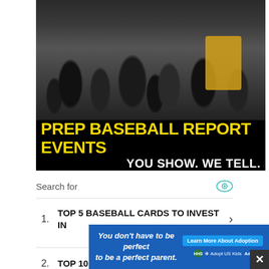[Figure (photo): Banner advertisement for Prep Baseball Report Events showing a crowd of people from behind with text overlay on black bar: 'PREP BASEBALL REPORT EVENTS' in yellow and 'YOU SHOW. WE TELL.' in white. Sidebar reads 'REGISTER TODAY'.]
Search for
1. TOP 5 BASEBALL CARDS TO INVEST IN
2. TOP 10 BASEBALL CARDS
3.
[Figure (photo): Bottom banner advertisement: 'You don't have to be perfect to be a perfect parent.' with 'Learn More About Adoption' button and Adopt US Kids logo on blue background.]